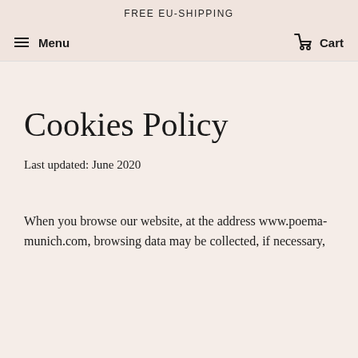FREE EU-SHIPPING
Menu   Cart
Cookies Policy
Last updated: June 2020
When you browse our website, at the address www.poema-munich.com, browsing data may be collected, if necessary,